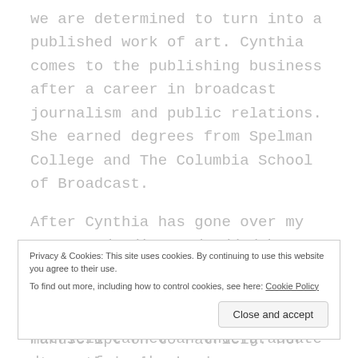we are determined to turn into a published work of art. Cynthia comes to the publishing business after a career in broadcast journalism and public relations. She earned degrees from Spelman College and The Columbia School of Broadcast.
After Cynthia has gone over my suggested edits and added her on suggestions, the manuscript comes back to me for more polishing. I then pass the manuscript on to Patricia. Her strength is in shoring up sentence structure Additionally, Patricia serves as
Privacy & Cookies: This site uses cookies. By continuing to use this website you agree to their use. To find out more, including how to control cookies, see here: Cookie Policy
Patricia earned an undergraduate degree from the